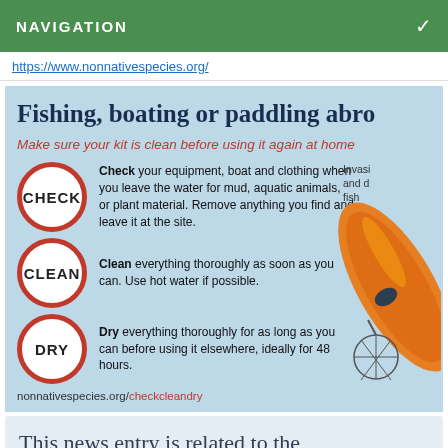NAVIGATION
https://www.nonnativespecies.org/
Fishing, boating or paddling abro
Make sure your kit is clean before using it again at home
Check your equipment, boat and clothing when you leave the water for mud, aquatic animals, or plant material. Remove anything you find and leave it at the site.
Clean everything thoroughly as soon as you can. Use hot water if possible.
Dry everything thoroughly for as long as you can before using it elsewhere, ideally for 48 hours.
[Figure (illustration): Orange kayak with fishing net illustration on the right side of the infographic]
nonnativespecies.org/checkcleandry
This news entry is related to the Invasive Species project, please visit